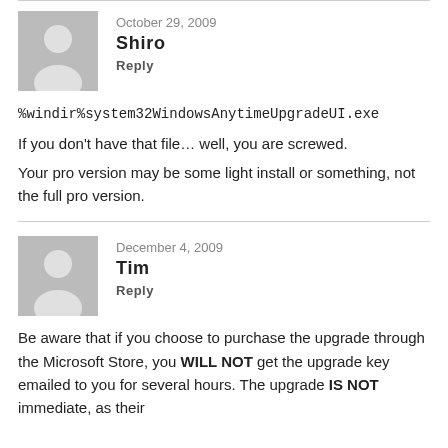October 29, 2009
Shiro
Reply
%windir%system32WindowsAnytimeUpgradeUI.exe
If you don't have that file... well, you are screwed.
Your pro version may be some light install or something, not the full pro version.
December 4, 2009
Tim
Reply
Be aware that if you choose to purchase the upgrade through the Microsoft Store, you WILL NOT get the upgrade key emailed to you for several hours. The upgrade IS NOT immediate, as their